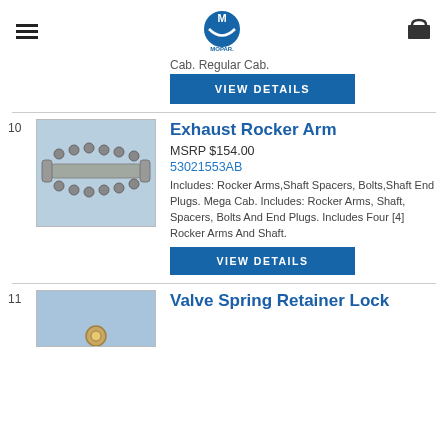MOPAR
Cab. Regular Cab.
[Figure (screenshot): Blue VIEW DETAILS button]
[Figure (photo): Exhaust Rocker Arm part on blue background]
Exhaust Rocker Arm
MSRP $154.00
53021553AB
Includes: Rocker Arms,Shaft Spacers, Bolts,Shaft End Plugs. Mega Cab. Includes: Rocker Arms, Shaft, Spacers, Bolts And End Plugs. Includes Four [4] Rocker Arms And Shaft.
[Figure (screenshot): Blue VIEW DETAILS button]
Valve Spring Retainer Lock
[Figure (photo): Valve Spring Retainer Lock part on blue background, partially visible]